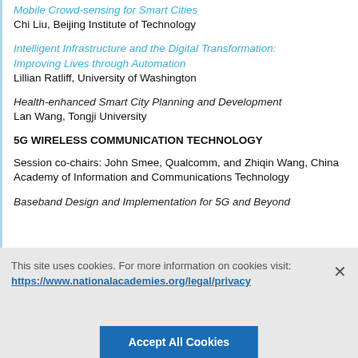Mobile Crowd-sensing for Smart Cities
Chi Liu, Beijing Institute of Technology
Intelligent Infrastructure and the Digital Transformation: Improving Lives through Automation
Lillian Ratliff, University of Washington
Health-enhanced Smart City Planning and Development
Lan Wang, Tongji University
5G WIRELESS COMMUNICATION TECHNOLOGY
Session co-chairs: John Smee, Qualcomm, and Zhiqin Wang, China Academy of Information and Communications Technology
Baseband Design and Implementation for 5G and Beyond
This site uses cookies. For more information on cookies visit:
https://www.nationalacademies.org/legal/privacy
Accept All Cookies